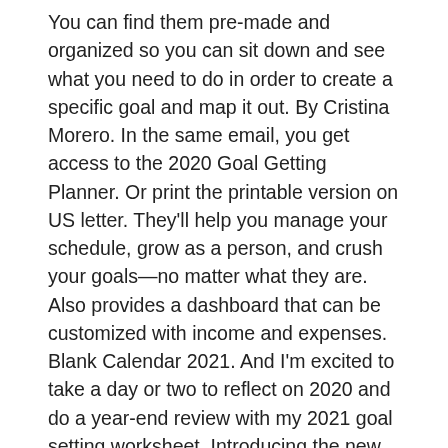You can find them pre-made and organized so you can sit down and see what you need to do in order to create a specific goal and map it out. By Cristina Morero. In the same email, you get access to the 2020 Goal Getting Planner. Or print the printable version on US letter. They'll help you manage your schedule, grow as a person, and crush your goals—no matter what they are. Also provides a dashboard that can be customized with income and expenses. Blank Calendar 2021. And I'm excited to take a day or two to reflect on 2020 and do a year-end review with my 2021 goal setting worksheet. Introducing the new 2021 Planner for GoodNotes (iPad). Pretty & Practical Monthly Goals Template and Calendar 2020 & 2021. 2021 Digital & Printable Goal Planner for iPads and tablets with a stylus or on US letter with pen & paper. Our FREE printable planner is ready to help you reach your goals and organize your life with a clean, modern design. These templates are easy to customize